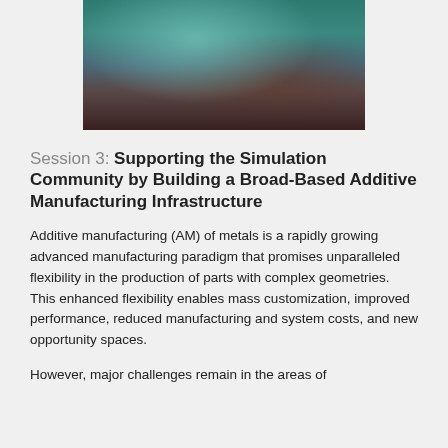[Figure (photo): Close-up photo of a metal additive manufacturing process showing a printed metal part under a machine head, with teal/blue and brown tones]
Session 3: Supporting the Simulation Community by Building a Broad-Based Additive Manufacturing Infrastructure
Additive manufacturing (AM) of metals is a rapidly growing advanced manufacturing paradigm that promises unparalleled flexibility in the production of parts with complex geometries. This enhanced flexibility enables mass customization, improved performance, reduced manufacturing and system costs, and new opportunity spaces.
However, major challenges remain in the areas of